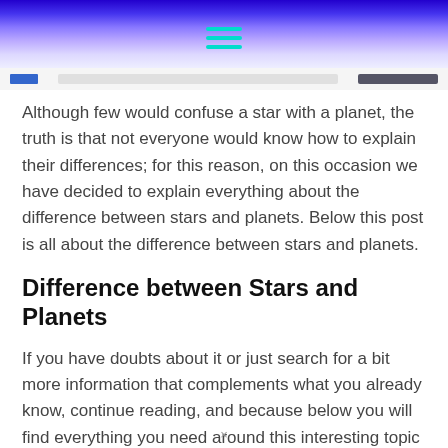Although few would confuse a star with a planet, the truth is that not everyone would know how to explain their differences; for this reason, on this occasion we have decided to explain everything about the difference between stars and planets. Below this post is all about the difference between stars and planets.
Difference between Stars and Planets
If you have doubts about it or just search for a bit more information that complements what you already know, continue reading, and because below you will find everything you need around this interesting topic that probably have